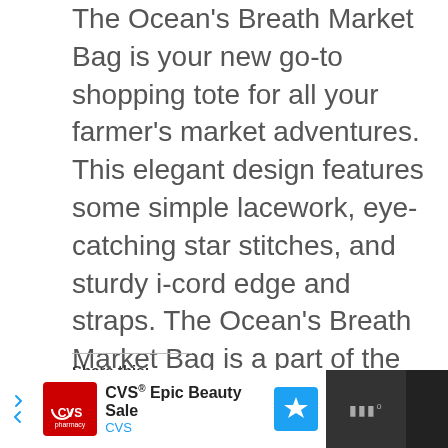The Ocean's Breath Market Bag is your new go-to shopping tote for all your farmer's market adventures. This elegant design features some simple lacework, eye-catching star stitches, and sturdy i-cord edge and straps. The Ocean's Breath Market Bag is a part of the macrame-inspired Ocean's Breath Collection.
Share this:
[Figure (infographic): Twitter and Facebook social sharing icon buttons (circular blue icons) and a grey scroll-to-top arrow button]
CONTINUE READING →
[Figure (infographic): Advertisement bar for CVS Epic Beauty Sale with CVS pharmacy logo, navigation icons, and a dark right panel]